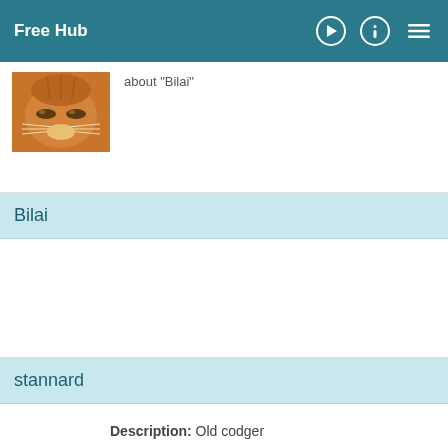Free Hub
about "Bilai"
[Figure (photo): Close-up photo of an orange tabby cat with squinting eyes]
Bilai
stannard
Description: Old codger
Age: 72
alex